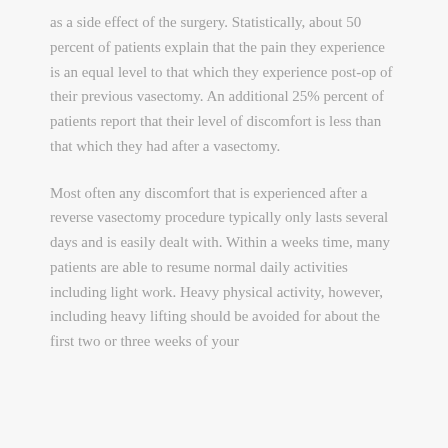as a side effect of the surgery. Statistically, about 50 percent of patients explain that the pain they experience is an equal level to that which they experience post-op of their previous vasectomy. An additional 25% percent of patients report that their level of discomfort is less than that which they had after a vasectomy.
Most often any discomfort that is experienced after a reverse vasectomy procedure typically only lasts several days and is easily dealt with. Within a weeks time, many patients are able to resume normal daily activities including light work. Heavy physical activity, however, including heavy lifting should be avoided for about the first two or three weeks of your